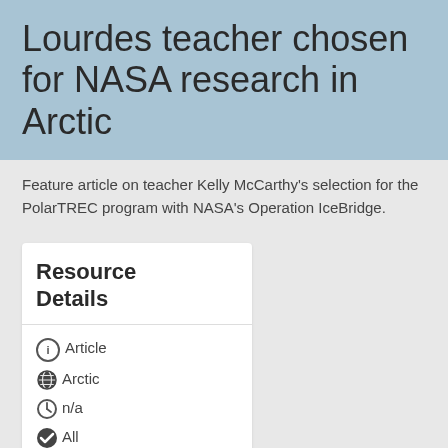Lourdes teacher chosen for NASA research in Arctic
Feature article on teacher Kelly McCarthy's selection for the PolarTREC program with NASA's Operation IceBridge.
Resource Details
Article
Arctic
n/a
All Aged